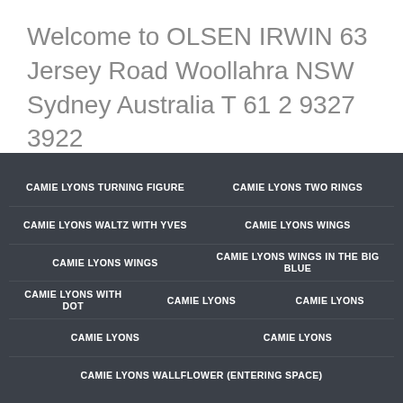Welcome to OLSEN IRWIN 63 Jersey Road Woollahra NSW Sydney Australia T 61 2 9327 3922
CAMIE LYONS TURNING FIGURE
CAMIE LYONS TWO RINGS
CAMIE LYONS WALTZ WITH YVES
CAMIE LYONS WINGS
CAMIE LYONS WINGS
CAMIE LYONS WINGS IN THE BIG BLUE
CAMIE LYONS WITH DOT
CAMIE LYONS
CAMIE LYONS
CAMIE LYONS
CAMIE LYONS
CAMIE LYONS WALLFLOWER (ENTERING SPACE)